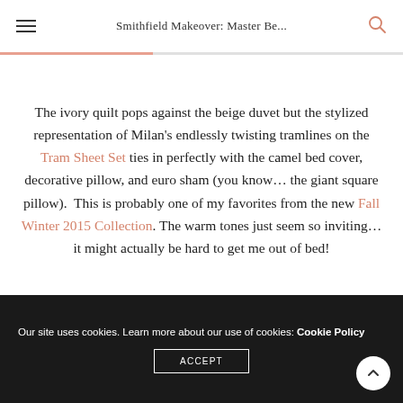Smithfield Makeover: Master Be...
The ivory quilt pops against the beige duvet but the stylized representation of Milan's endlessly twisting tramlines on the Tram Sheet Set ties in perfectly with the camel bed cover, decorative pillow, and euro sham (you know… the giant square pillow).  This is probably one of my favorites from the new Fall Winter 2015 Collection. The warm tones just seem so inviting… it might actually be hard to get me out of bed!
Our site uses cookies. Learn more about our use of cookies: Cookie Policy